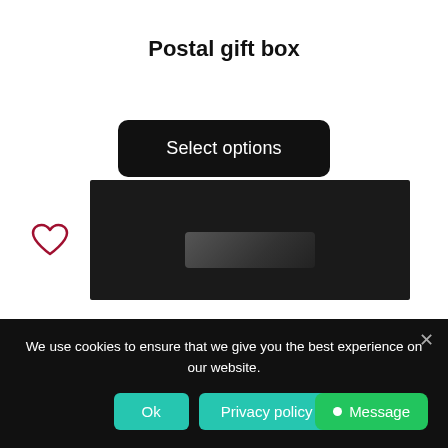Postal gift box
Select options
[Figure (illustration): Heart/wishlist icon outline in dark red/maroon color]
[Figure (photo): Partial view of a dark postal gift box with a USB flash drive or similar item inside]
We use cookies to ensure that we give you the best experience on our website.
Ok
Privacy policy
Message